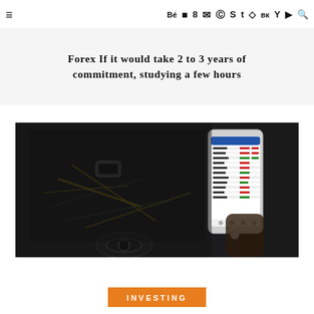≡  Bē  ◻  8+  ✉  ℗  S  t  ▣  вк  Y  ▶  🔍
Forex If it would take 2 to 3 years of commitment, studying a few hours
[Figure (photo): Person holding a smartphone displaying forex trading charts and data, with dark background showing machinery/equipment with yellow and green circuit-like elements.]
INVESTING